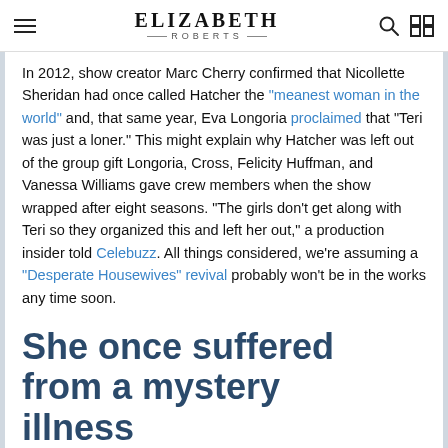ELIZABETH ROBERTS
In 2012, show creator Marc Cherry confirmed that Nicollette Sheridan had once called Hatcher the "meanest woman in the world" and, that same year, Eva Longoria proclaimed that "Teri was just a loner." This might explain why Hatcher was left out of the group gift Longoria, Cross, Felicity Huffman, and Vanessa Williams gave crew members when the show wrapped after eight seasons. "The girls don't get along with Teri so they organized this and left her out," a production insider told Celebuzz. All things considered, we're assuming a "Desperate Housewives" revival probably won't be in the works any time soon.
She once suffered from a mystery illness